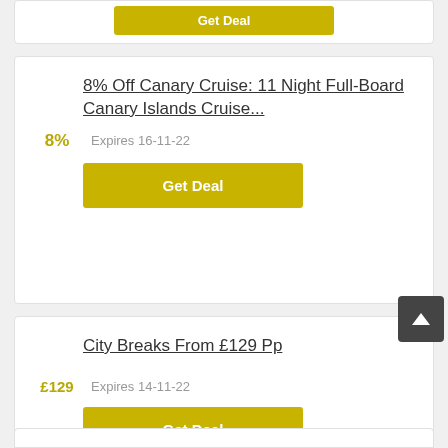[Figure (screenshot): Partial top of a deal card showing a Get Deal button in olive/gold color]
8% Off Canary Cruise: 11 Night Full-Board Canary Islands Cruise...
8%
Expires 16-11-22
Get Deal
City Breaks From £129 Pp
£129
Expires 14-11-22
Get Deal